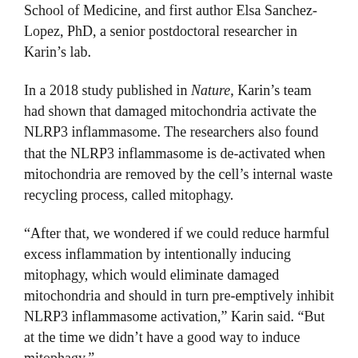School of Medicine, and first author Elsa Sanchez-Lopez, PhD, a senior postdoctoral researcher in Karin's lab.
In a 2018 study published in Nature, Karin's team had shown that damaged mitochondria activate the NLRP3 inflammasome. The researchers also found that the NLRP3 inflammasome is de-activated when mitochondria are removed by the cell's internal waste recycling process, called mitophagy.
“After that, we wondered if we could reduce harmful excess inflammation by intentionally inducing mitophagy, which would eliminate damaged mitochondria and should in turn pre-emptively inhibit NLRP3 inflammasome activation,” Karin said. “But at the time we didn’t have a good way to induce mitophagy.”